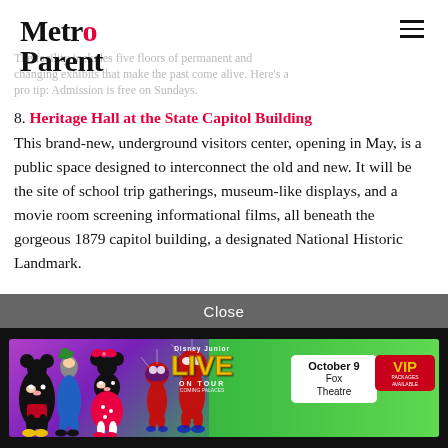Metro Parent
The facility includes five floors of permanent and changing exhibits that make the past come alive. Here's a pro tip: Admission is free on Sundays.
8. Heritage Hall at the State Capitol Building
This brand-new, underground visitors center, opening in May, is a public space designed to interconnect the old and new. It will be the site of school trip gatherings, museum-like displays, and a movie room screening informational films, all beneath the gorgeous 1879 capitol building, a designated National Historic Landmark.
Close
[Figure (photo): Disney Junior Live On Tour advertisement banner featuring Mickey Mouse, Goofy, Minnie Mouse, Spidey and friends characters. Shows October 9 at Fox Theatre with VIP option.]